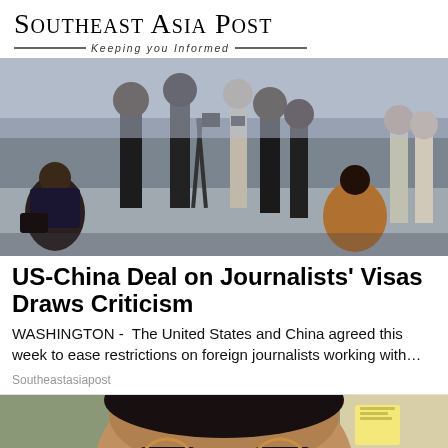Southeast Asia Post — Keeping you informed
[Figure (photo): Group of journalists and photographers standing and crouching on a street, some with cameras and tripods]
US-China Deal on Journalists' Visas Draws Criticism
WASHINGTON -  The United States and China agreed this week to ease restrictions on foreign journalists working with…
Southeastasiapost
[Figure (photo): Close-up of a person wearing round glasses, partial face visible showing eyes and forehead]